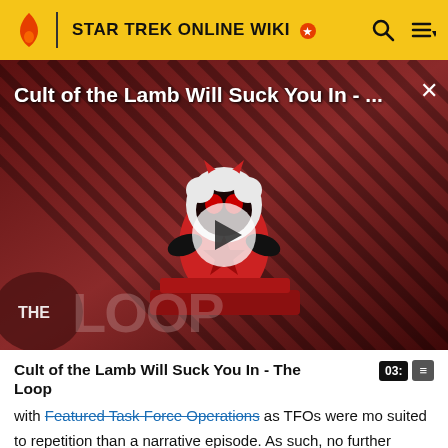STAR TREK ONLINE WIKI
[Figure (screenshot): Video thumbnail for 'Cult of the Lamb Will Suck You In - The Loop' showing an animated lamb character with red eyes on a red dais, with diagonal stripe background and THE LOOP text overlay. A white play button is centered on the thumbnail.]
Cult of the Lamb Will Suck You In - The Loop
with Featured Task Force Operations as TFOs were more suited to repetition than a narrative episode. As such, no further Featured Episodes would be produced.[1]